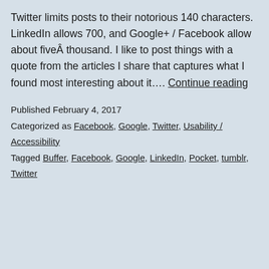Twitter limits posts to their notorious 140 characters. LinkedIn allows 700, and Google+ / Facebook allow about fiveÂ thousand. I like to post things with a quote from the articles I share that captures what I found most interesting about it…. Continue reading
Published February 4, 2017
Categorized as Facebook, Google, Twitter, Usability / Accessibility
Tagged Buffer, Facebook, Google, LinkedIn, Pocket, tumblr, Twitter